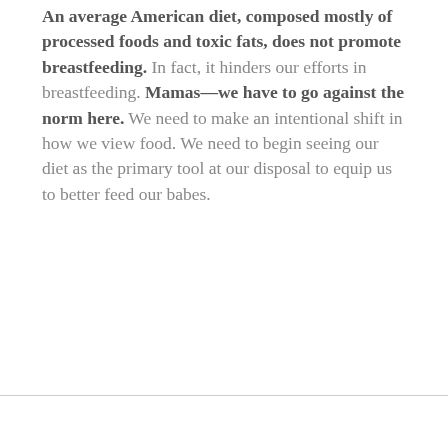An average American diet, composed mostly of processed foods and toxic fats, does not promote breastfeeding. In fact, it hinders our efforts in breastfeeding. Mamas—we have to go against the norm here. We need to make an intentional shift in how we view food. We need to begin seeing our diet as the primary tool at our disposal to equip us to better feed our babes.